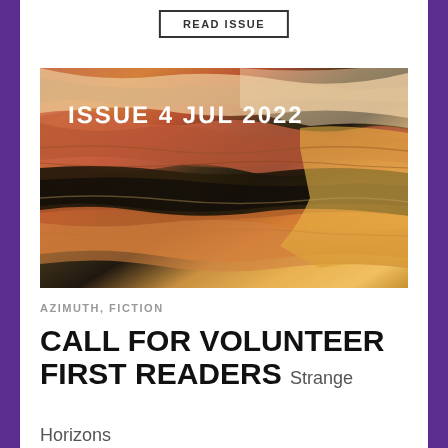READ ISSUE
[Figure (photo): Abstract marbled painting with warm tones of orange, yellow, peach, and dark bands, overlaid with text 'ISSUE 4 JUL 2022']
AZIMUTH, FICTION
CALL FOR VOLUNTEER FIRST READERS Strange
Horizons